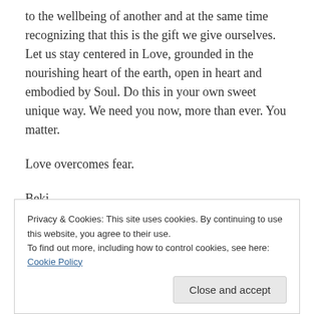to the wellbeing of another and at the same time recognizing that this is the gift we give ourselves. Let us stay centered in Love, grounded in the nourishing heart of the earth, open in heart and embodied by Soul. Do this in your own sweet unique way. We need you now, more than ever. You matter.
Love overcomes fear.
Beki
Privacy & Cookies: This site uses cookies. By continuing to use this website, you agree to their use.
To find out more, including how to control cookies, see here: Cookie Policy